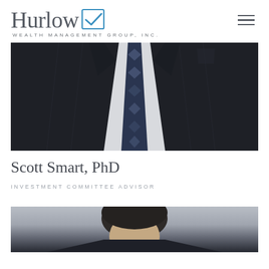[Figure (logo): Hurlow Wealth Management Group, Inc. logo with serif wordmark and blue checkbox icon]
[Figure (photo): Close-up photo of a man in a dark navy pinstripe suit with a navy and silver geometric patterned tie]
Scott Smart, PhD
INVESTMENT COMMITTEE ADVISOR
[Figure (photo): Partial photo of another person, visible from shoulders up, dark hair, light grey background]